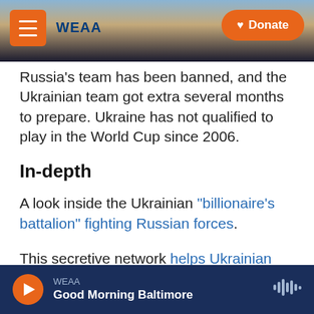WEAA | Donate
Russia's team has been banned, and the Ukrainian team got extra several months to prepare. Ukraine has not qualified to play in the World Cup since 2006.
In-depth
A look inside the Ukrainian "billionaire's battalion" fighting Russian forces.
This secretive network helps Ukrainian refugees find abortions in Europe.
War isn't dampening artists' determination to revive
WEAA Good Morning Baltimore